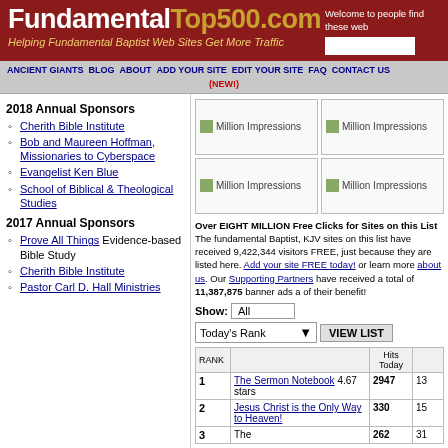FundamentalTop500.com — Helping Fundamental Baptist Web Sites Get More Traffic
2018 Annual Sponsors
Cherith Bible Institute
Bob and Maureen Hoffman, Missionaries to Cyberspace
Evangelist Ken Blue
School of Biblical & Theological Studies
2017 Annual Sponsors
Prove All Things Evidence-based Bible Study
Cherith Bible Institute
Pastor Carl D. Hall Ministries
[Figure (other): Four advertisement boxes showing Million Impressions banners]
Over EIGHT MILLION Free Clicks for Sites on this List! The fundamental Baptist, KJV sites on this list have received 9,422,344 visitors FREE, just because they are listed here. Add your site FREE today! or learn more about us. Our Supporting Partners have received a total of 11,387,875 banner ads at no cost of their benefit!
| RANK |  | Hits Today |  |
| --- | --- | --- | --- |
| 1 | The Sermon Notebook 4.67 stars | 2947 | 13 |
| 2 | Jesus Christ is the Only Way to Heaven! | 330 | 15 |
| 3 | The | 262 | 31 |